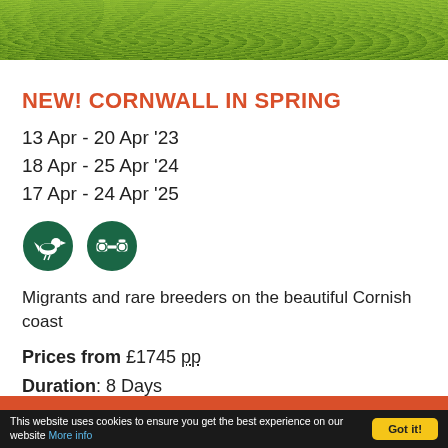[Figure (photo): Green foliage/grass background photo banner at top of page]
NEW! CORNWALL IN SPRING
13 Apr - 20 Apr '23
18 Apr - 25 Apr '24
17 Apr - 24 Apr '25
[Figure (illustration): Two circular dark green icons: a bird silhouette icon and a binoculars icon]
Migrants and rare breeders on the beautiful Cornish coast
Prices from £1745 pp.
Duration: 8 Days
This website uses cookies to ensure you get the best experience on our website More info   Got it!